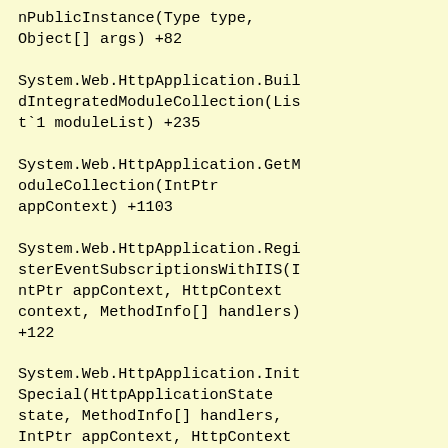nPublicInstance(Type type, Object[] args) +82

System.Web.HttpApplication.BuildIntegratedModuleCollection(List`1 moduleList) +235

System.Web.HttpApplication.GetModuleCollection(IntPtr appContext) +1103

System.Web.HttpApplication.RegisterEventSubscriptionsWithIIS(IntPtr appContext, HttpContext context, MethodInfo[] handlers) +122

System.Web.HttpApplication.InitSpecial(HttpApplicationState state, MethodInfo[] handlers, IntPtr appContext, HttpContext context) +173

System.Web.HttpApplicationFactory.GetSpecialApplicationInstance